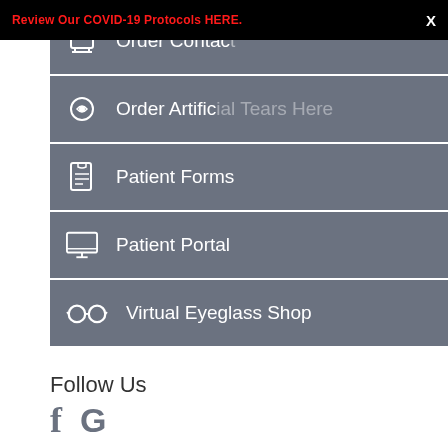Review Our COVID-19 Protocols HERE.   X
Order Contact [Lenses]
Order Artificial [Tears Here]
Patient Forms
Patient Portal
Virtual Eyeglass Shop
Follow Us
[Figure (logo): Facebook and Google social media icons]
Butler Eye Care LLC
Phone:
(724) 283-8144
Fax: